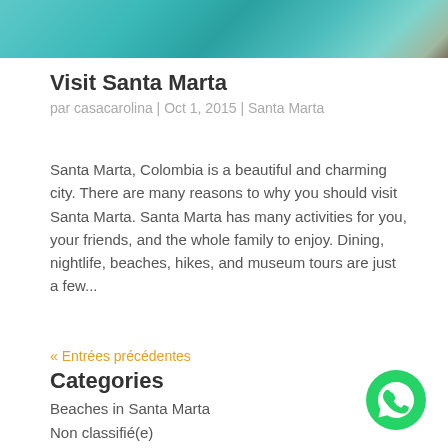[Figure (photo): Partial photo of turquoise ocean water with rocks at top of page]
Visit Santa Marta
par casacarolina | Oct 1, 2015 | Santa Marta
Santa Marta, Colombia is a beautiful and charming city. There are many reasons to why you should visit Santa Marta. Santa Marta has many activities for you, your friends, and the whole family to enjoy. Dining, nightlife, beaches, hikes, and museum tours are just a few...
« Entrées précédentes
Categories
Beaches in Santa Marta
Non classifié(e)
[Figure (illustration): WhatsApp green circular button icon in bottom right corner]